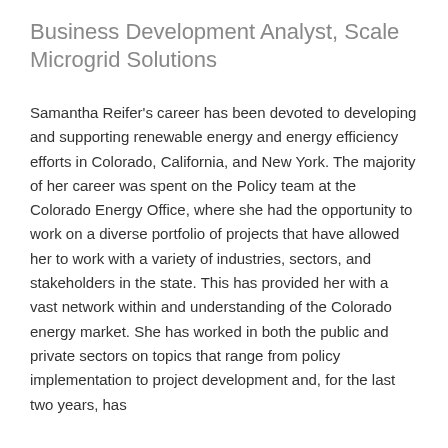Business Development Analyst, Scale Microgrid Solutions
Samantha Reifer's career has been devoted to developing and supporting renewable energy and energy efficiency efforts in Colorado, California, and New York. The majority of her career was spent on the Policy team at the Colorado Energy Office, where she had the opportunity to work on a diverse portfolio of projects that have allowed her to work with a variety of industries, sectors, and stakeholders in the state. This has provided her with a vast network within and understanding of the Colorado energy market. She has worked in both the public and private sectors on topics that range from policy implementation to project development and, for the last two years, has